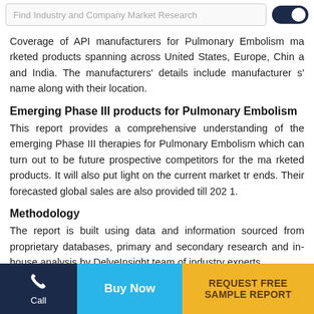Find Industry and Company Market Research
Coverage of API manufacturers for Pulmonary Embolism marketed products spanning across United States, Europe, China and India. The manufacturers' details include manufacturers' name along with their location.
Emerging Phase III products for Pulmonary Embolism
This report provides a comprehensive understanding of the emerging Phase III therapies for Pulmonary Embolism which can turn out to be future prospective competitors for the marketed products. It will also put light on the current market trends. Their forecasted global sales are also provided till 2021.
Methodology
The report is built using data and information sourced from proprietary databases, primary and secondary research and in-house analysis by DelveInsight team of industry experts.
Call | Buy Now | REQUEST FREE SAMPLE REPORT